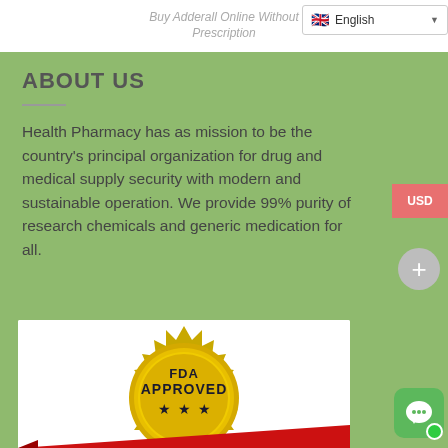Buy Adderall Online Without Prescription
ABOUT US
Health Pharmacy has as mission to be the country's principal organization for drug and medical supply security with modern and sustainable operation. We provide 99% purity of research chemicals and generic medication for all.
[Figure (illustration): FDA Approved gold seal badge with red ribbon banner reading 'FDA APPROVED' in white bold text]